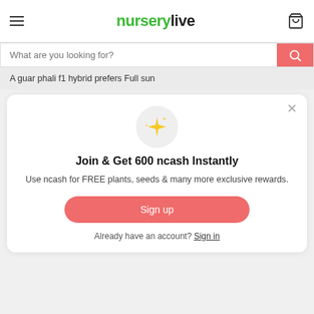nurserylive
What are you looking for?
A guar phali f1 hybrid prefers Full sun
Join & Get 600 ncash Instantly
Use ncash for FREE plants, seeds & many more exclusive rewards.
Sign up
Already have an account? Sign in